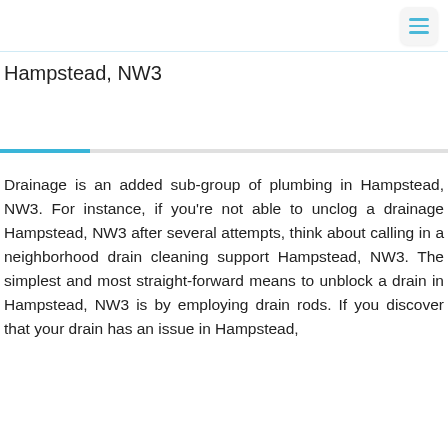Hampstead, NW3
Drainage is an added sub-group of plumbing in Hampstead, NW3. For instance, if you're not able to unclog a drainage Hampstead, NW3 after several attempts, think about calling in a neighborhood drain cleaning support Hampstead, NW3. The simplest and most straight-forward means to unblock a drain in Hampstead, NW3 is by employing drain rods. If you discover that your drain has an issue in Hampstead,